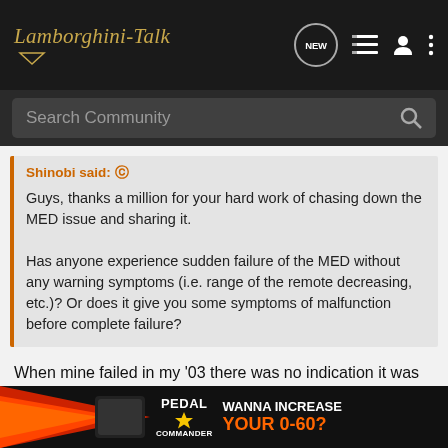Lamborghini-Talk
Search Community
Shinobi said: ↺
Guys, thanks a million for your hard work of chasing down the MED issue and sharing it.

Has anyone experience sudden failure of the MED without any warning symptoms (i.e. range of the remote decreasing, etc.)? Or does it give you some symptoms of malfunction before complete failure?
When mine failed in my '03 there was no indication it was coming. Car had been fine, and then I went out for a drive one day and the remotes no longer worked.
I'm about to have it in for a clutch job, so now I'm considering bypassing it anyway, so shou
[Figure (screenshot): Pedal Commander advertisement banner: orange arrow graphic, device image, PEDAL COMMANDER logo with star, text WANNA INCREASE YOUR 0-60?]